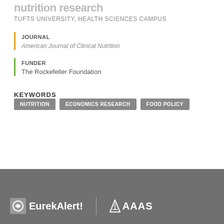nutrition research
TUFTS UNIVERSITY, HEALTH SCIENCES CAMPUS
JOURNAL
American Journal of Clinical Nutrition
FUNDER
The Rockefeller Foundation
KEYWORDS
NUTRITION
ECONOMICS RESEARCH
FOOD POLICY
[Figure (logo): EurekAlert! and AAAS logos in white on grey footer bar]